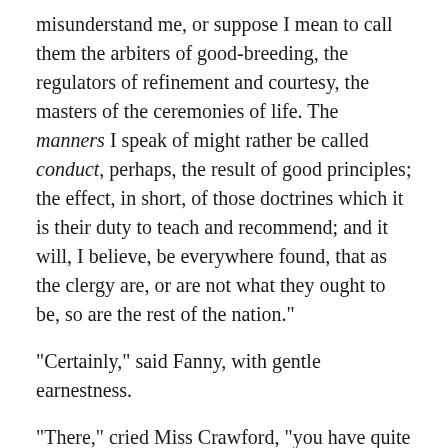misunderstand me, or suppose I mean to call them the arbiters of good-breeding, the regulators of refinement and courtesy, the masters of the ceremonies of life. The manners I speak of might rather be called conduct, perhaps, the result of good principles; the effect, in short, of those doctrines which it is their duty to teach and recommend; and it will, I believe, be everywhere found, that as the clergy are, or are not what they ought to be, so are the rest of the nation."
"Certainly," said Fanny, with gentle earnestness.
"There," cried Miss Crawford, "you have quite convinced Miss Price already."
"I wish I could convince Miss Crawford too."
"I do not think you ever will," said she, with an arch smile; "I am just as much surprised now as I was at first that you should intend to take orders. You really are fit for something better. Come, do change your mind. It is not too late. Go into the law."
"Go into the law! With as much ease as I was told to go into this wilderness."